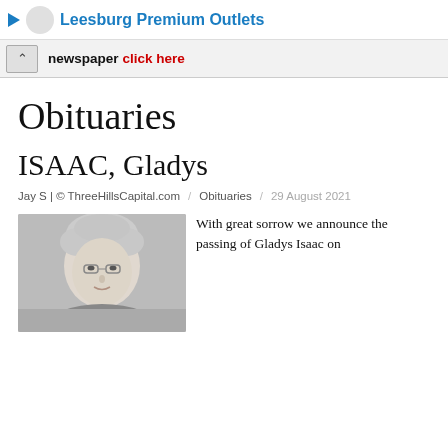Leesburg Premium Outlets
newspaper click here
Obituaries
ISAAC, Gladys
Jay S | © ThreeHillsCapital.com  /  Obituaries  /  29 August 2021
[Figure (photo): Portrait photo of Gladys Isaac, an elderly woman with gray hair]
With great sorrow we announce the passing of Gladys Isaac on